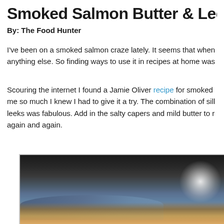Smoked Salmon Butter & Leek Crostini
By: The Food Hunter
I've been on a smoked salmon craze lately. It seems that when anything else. So finding ways to use it in recipes at home was
Scouring the internet I found a Jamie Oliver recipe for smoked me so much I knew I had to give it a try. The combination of sill leeks was fabulous. Add in the salty capers and mild butter to r again and again.
[Figure (photo): Photo of smoked salmon butter and leek crostini on a blue plate, dark background with bokeh light]